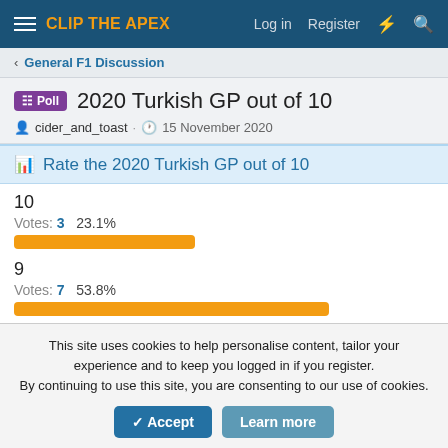CLIP THE APEX | Log in | Register
General F1 Discussion
Poll 2020 Turkish GP out of 10
cider_and_toast · 15 November 2020
Rate the 2020 Turkish GP out of 10
10
Votes: 3  23.1%
9
Votes: 7  53.8%
8
This site uses cookies to help personalise content, tailor your experience and to keep you logged in if you register.
By continuing to use this site, you are consenting to our use of cookies.